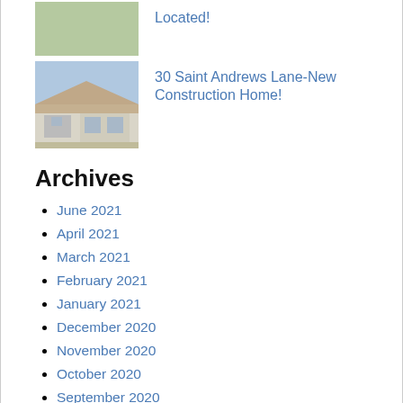[Figure (photo): Thumbnail photo of a grassy outdoor area with some construction or land visible]
Located!
[Figure (photo): Thumbnail photo of a new construction home exterior, single-story, light colored siding, blue sky background]
30 Saint Andrews Lane-New Construction Home!
Archives
June 2021
April 2021
March 2021
February 2021
January 2021
December 2020
November 2020
October 2020
September 2020
August 2020
July 2020
June 2020